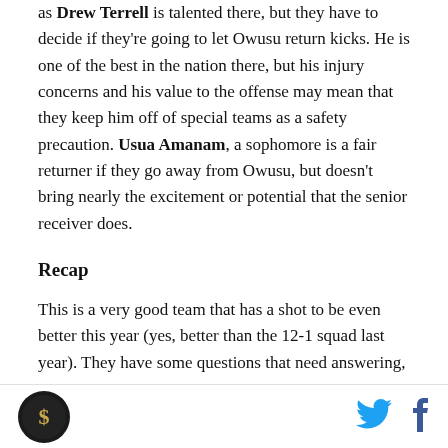as Drew Terrell is talented there, but they have to decide if they're going to let Owusu return kicks. He is one of the best in the nation there, but his injury concerns and his value to the offense may mean that they keep him off of special teams as a safety precaution. Usua Amanam, a sophomore is a fair returner if they go away from Owusu, but doesn't bring nearly the excitement or potential that the senior receiver does.
Recap
This is a very good team that has a shot to be even better this year (yes, better than the 12-1 squad last year). They have some questions that need answering,
[logo] [twitter] [facebook]